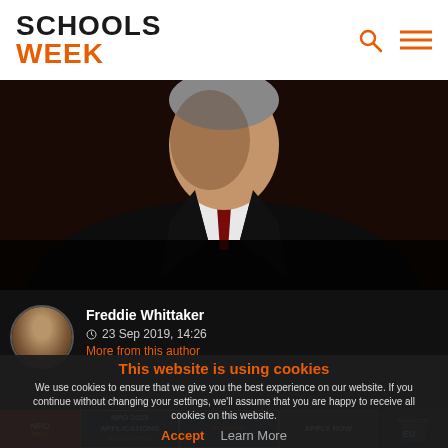SCHOOLS WEEK
[Figure (photo): Close-up photo of a man in a dark suit and red tie, partially cropped showing face and upper torso against a dark background]
Freddie Whittaker
23 Sep 2019, 14:26
More from this author
This website is using cookies
We use cookies to ensure that we give you the best experience on our website. If you continue without changing your settings, we'll assume that you are happy to receive all cookies on this website.
Accept | Learn More